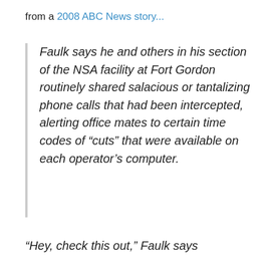from a 2008 ABC News story...
Faulk says he and others in his section of the NSA facility at Fort Gordon routinely shared salacious or tantalizing phone calls that had been intercepted, alerting office mates to certain time codes of “cuts” that were available on each operator’s computer.
“Hey, check this out,” Faulk says